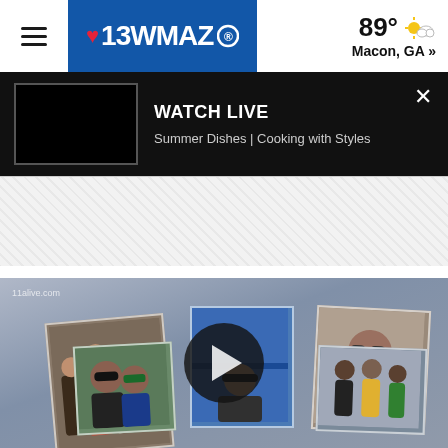[Figure (screenshot): 13WMAZ CBS news website header with hamburger menu, station logo, and weather showing 89° Macon, GA]
[Figure (screenshot): Watch Live banner showing Summer Dishes | Cooking with Styles with a dark video thumbnail and X close button]
[Figure (screenshot): Striped ad/banner area]
[Figure (screenshot): Video thumbnail from 11alive.com showing multiple photo cards of people with a play button overlay]